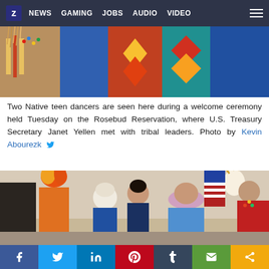Z NEWS GAMING JOBS AUDIO VIDEO
[Figure (photo): Two Native teen dancers in traditional regalia during a welcome ceremony on the Rosebud Reservation]
Two Native teen dancers are seen here during a welcome ceremony held Tuesday on the Rosebud Reservation, where U.S. Treasury Secretary Janet Yellen met with tribal leaders. Photo by Kevin Abourezk
[Figure (photo): Janet Yellen and others at the welcome ceremony on the Rosebud Reservation with Native dancers in traditional regalia]
Social sharing bar: Facebook, Twitter, LinkedIn, Pinterest, Tumblr, Email, Share